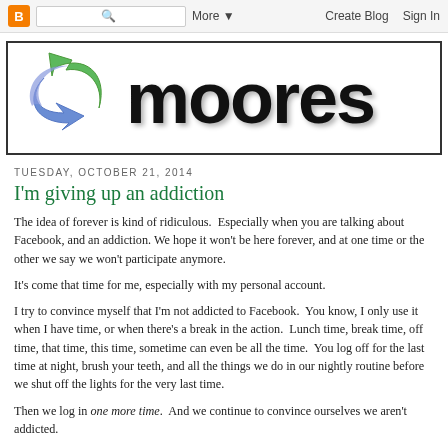B [search] Q   More ▼   Create Blog   Sign In
[Figure (logo): Moores blog logo with blue and green arrow swoosh graphic and large bold black text 'moores']
TUESDAY, OCTOBER 21, 2014
I'm giving up an addiction
The idea of forever is kind of ridiculous.  Especially when you are talking about Facebook, and an addiction. We hope it won't be here forever, and at one time or the other we say we won't participate anymore.
It's come that time for me, especially with my personal account.
I try to convince myself that I'm not addicted to Facebook.  You know, I only use it when I have time, or when there's a break in the action.  Lunch time, break time, off time, that time, this time, sometime can even be all the time.  You log off for the last time at night, brush your teeth, and all the things we do in our nightly routine before we shut off the lights for the very last time.
Then we log in one more time.  And we continue to convince ourselves we aren't addicted.